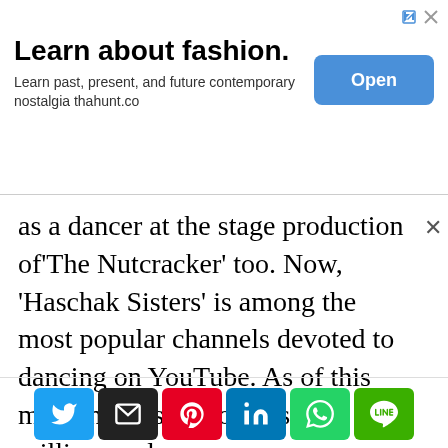[Figure (screenshot): Advertisement banner for 'thahunt.co' fashion app with title 'Learn about fashion.', subtitle 'Learn past, present, and future contemporary nostalgia thahunt.co', and an 'Open' button.]
as a dancer at the stage production of‘The Nutcracker’ too. Now, ‘Haschak Sisters’ is among the most popular channels devoted to dancing on YouTube. As of this moment, this station has 2.8 million readers.
[Figure (screenshot): Social media share buttons: Twitter, Email, Pinterest, LinkedIn, WhatsApp, LINE]